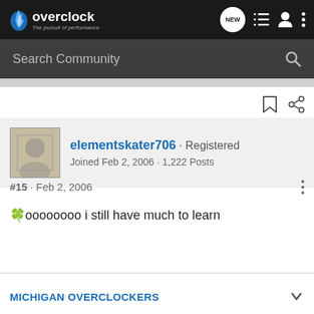overclock · The pursuit of performance
Search Community
elementskater706 · Registered
Joined Feb 2, 2006 · 1,222 Posts
#15 · Feb 2, 2006
🍀oooooooo i still have much to learn
MICHIGAN OVERCLOCKERS